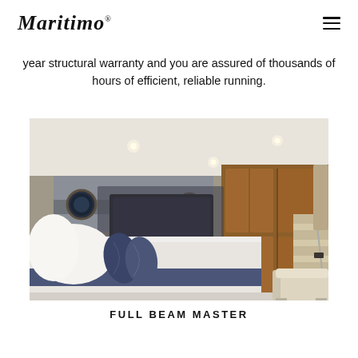Maritimo®
year structural warranty and you are assured of thousands of hours of efficient, reliable running.
[Figure (photo): Interior photo of a luxury yacht master stateroom with a large white bed, navy blue accent pillows, warm wood cabinetry, wall-mounted flat screen TV, porthole windows, recessed lighting, and a staircase leading to the upper deck. A beige armchair is visible in the lower right corner.]
FULL BEAM MASTER